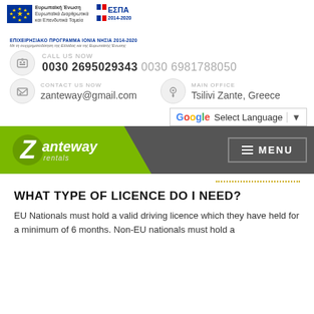[Figure (logo): EU flag and ESPA 2014-2020 logo with text: Ευρωπαϊκή Ένωση, Ευρωπαϊκά Διαρθρωτικά και Επενδυτικά Ταμεία, ΕΣΠΑ 2014-2020, ΕΠΙΧΕΙΡΗΣΙΑΚΟ ΠΡΟΓΡΑΜΜΑ ΙΟΝΙΑ ΝΗΣΙΑ 2014-2020]
CALL US NOW
0030 2695029343 0030 6981788050
CONTACT US NOW
zanteway@gmail.com
MAIN OFFICE
Tsilivi Zante, Greece
[Figure (logo): Google Translate Select Language dropdown button]
[Figure (logo): Zanteway Rentals logo on green background with MENU button]
WHAT TYPE OF LICENCE DO I NEED?
EU Nationals must hold a valid driving licence which they have held for a minimum of 6 months. Non-EU nationals must hold a